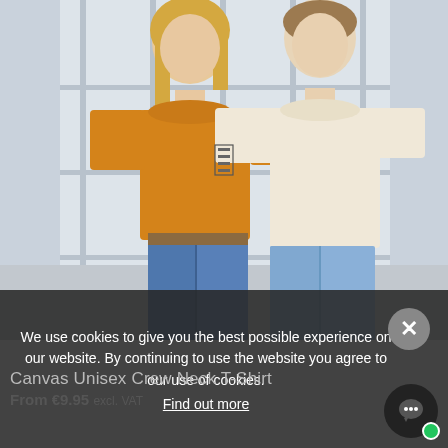[Figure (photo): Two models standing together: a woman wearing an orange/mustard crew neck t-shirt with blue high-waisted jeans, and a man wearing a cream/beige crew neck t-shirt with light blue jeans. They are posing in front of large industrial windows with a light background.]
We use cookies to give you the best possible experience on our website. By continuing to use the website you agree to our use of cookies. Find out more
Canvas Unisex Crew Neck T-Shirt
From €9.95 excl. VAT